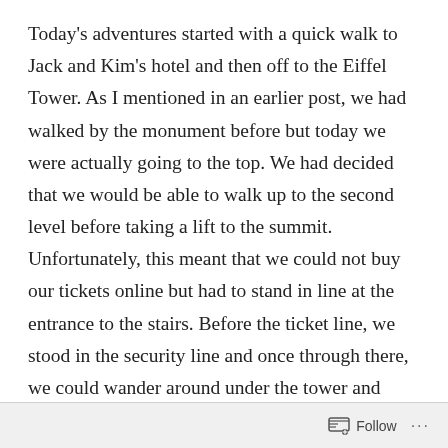Today's adventures started with a quick walk to Jack and Kim's hotel and then off to the Eiffel Tower. As I mentioned in an earlier post, we had walked by the monument before but today we were actually going to the top. We had decided that we would be able to walk up to the second level before taking a lift to the summit. Unfortunately, this meant that we could not buy our tickets online but had to stand in line at the entrance to the stairs. Before the ticket line, we stood in the security line and once through there, we could wander around under the tower and through the grounds. We finally got in line for tickets and once these were acquired, we started up the steps – 338 to the first floor where we
Follow ···